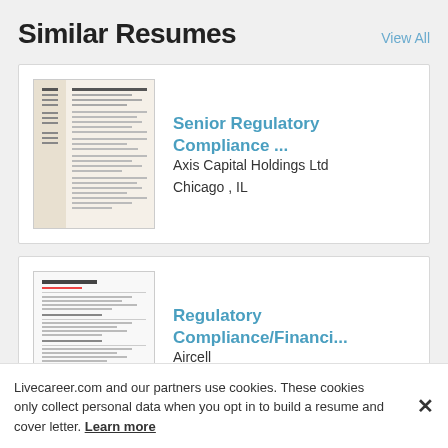Similar Resumes
View All
[Figure (illustration): Thumbnail preview of a resume document for Senior Regulatory Compliance position]
Senior Regulatory Compliance ...
Axis Capital Holdings Ltd
Chicago , IL
[Figure (illustration): Thumbnail preview of a resume document for Regulatory Compliance/Finance position]
Regulatory Compliance/Financi...
Aircell
Broomfield , CO
Livecareer.com and our partners use cookies. These cookies only collect personal data when you opt in to build a resume and cover letter. Learn more